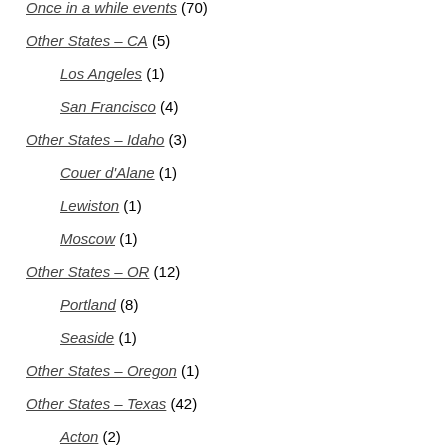Once in a while events (70)
Other States – CA (5)
Los Angeles (1)
San Francisco (4)
Other States – Idaho (3)
Couer d'Alane (1)
Lewiston (1)
Moscow (1)
Other States – OR (12)
Portland (8)
Seaside (1)
Other States – Oregon (1)
Other States – Texas (42)
Acton (2)
Dallas (2)
Fort Worth (1)
Glen Rose (3)
Granbury (29)
Grapevine (1)